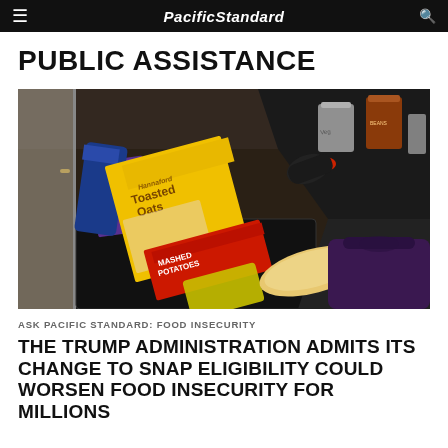PacificStandard
PUBLIC ASSISTANCE
[Figure (photo): Overhead view of food bank items on a black tray including Toasted Oats cereal box, red Mashed Potatoes box, canned goods, bread, and other grocery items being sorted by a person in dark clothing]
ASK PACIFIC STANDARD: FOOD INSECURITY
THE TRUMP ADMINISTRATION ADMITS ITS CHANGE TO SNAP ELIGIBILITY COULD WORSEN FOOD INSECURITY FOR MILLIONS